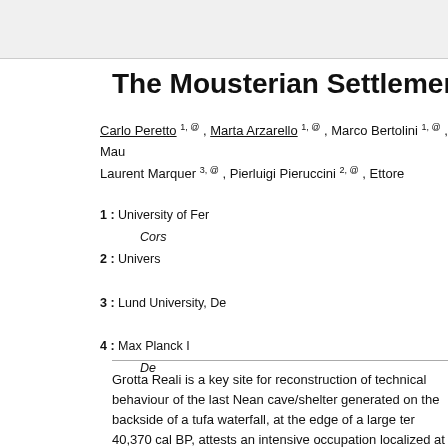The Mousterian Settlement of Grotta R
Carlo Peretto 1, @ , Marta Arzarello 1, @ , Marco Bertolini 1, @ , Mau Laurent Marquer 3, @ , Pierluigi Pieruccini 2, @ , Ettore
1 : University of Fer Cors 2 : Univers 3 : Lund University, De 4 : Max Planck I De
Grotta Reali is a key site for reconstruction of technical behaviour of the last Nean cave/shelter generated on the backside of a tufa waterfall, at the edge of a large ter 40,370 cal BP, attests an intensive occupation localized at the crossroads of differe the persistence of wooded environments with large open areas where cervids, horse (MIS 3). The Mousterian occupation of Grotta Reali gives detailed information on technical behaviour at the end of the Mousterian. In fact, productive strategies attes Levallois, discoid and the S.S.D.A. The presence of a laminar debitage in a volume correlated by some authors to an important climatic fluctuation which would have a few sites distributed along the entire peninsula: Riparo Tagliente, Grotta della Gh Breuil in Central Italy; Grotta di Castelcivita, Riparo L'Oscurusciuto and Grotta de behaviour, faunal and environmental data, based on the multidisciplinary studies ur Pleniglacial.